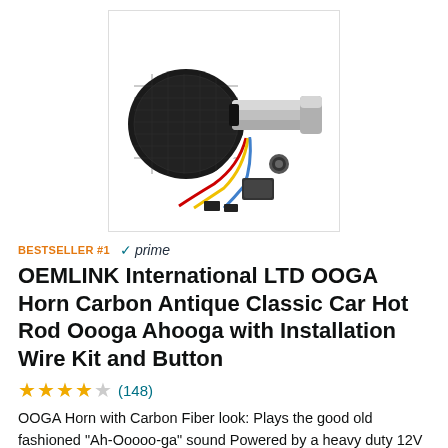[Figure (photo): Product photo of OOGA Horn — a black carbon fiber trumpet-style horn with a chrome cylinder body, shown with an installation wire kit including colored wires, relay, and button switch, all on white background.]
BESTSELLER #1  ✓prime
OEMLINK International LTD OOGA Horn Carbon Antique Classic Car Hot Rod Oooga Ahooga with Installation Wire Kit and Button
★★★½☆ (148)
OOGA Horn with Carbon Fiber look: Plays the good old fashioned "Ah-Ooooo-ga" sound Powered by a heavy duty 12V motor for Loud Output Works with standard